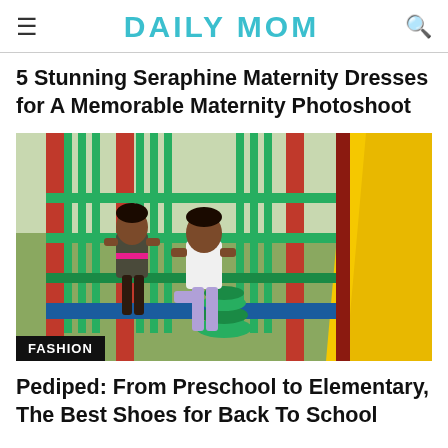DAILY MOM
5 Stunning Seraphine Maternity Dresses for A Memorable Maternity Photoshoot
[Figure (photo): Two young girls playing on a colorful playground structure with green, red, and yellow bars and a yellow slide. One girl wears a dark shirt and the other wears a white shirt and purple leggings.]
FASHION
Pediped: From Preschool to Elementary, The Best Shoes for Back To School